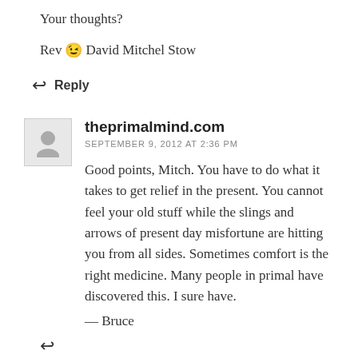Your thoughts?
Rev 😉 David Mitchel Stow
↩ Reply
theprimalmind.com
SEPTEMBER 9, 2012 AT 2:36 PM
Good points, Mitch. You have to do what it takes to get relief in the present. You cannot feel your old stuff while the slings and arrows of present day misfortune are hitting you from all sides. Sometimes comfort is the right medicine. Many people in primal have discovered this. I sure have.
— Bruce